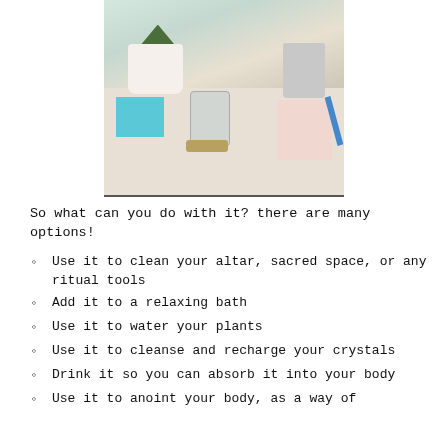[Figure (photo): A desk scene with a white plant pot containing a succulent, a glass jar with crystals on a wooden base, a teal sticky note pad, a floral notebook, a blue pen, and a gray cylindrical cup in the background.]
So what can you do with it? there are many options!
Use it to clean your altar, sacred space, or any ritual tools
Add it to a relaxing bath
Use it to water your plants
Use it to cleanse and recharge your crystals
Drink it so you can absorb it into your body
Use it to anoint your body, as a way of